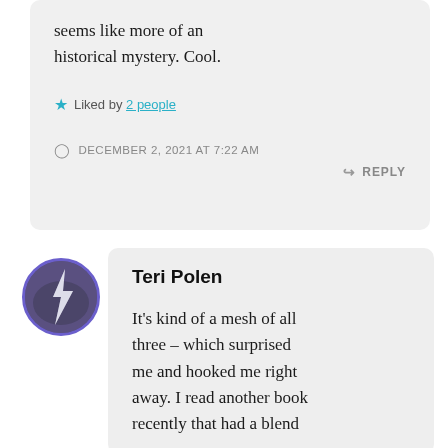seems like more of an historical mystery. Cool.
Liked by 2 people
DECEMBER 2, 2021 AT 7:22 AM
REPLY
Teri Polen
It's kind of a mesh of all three – which surprised me and hooked me right away. I read another book recently that had a blend